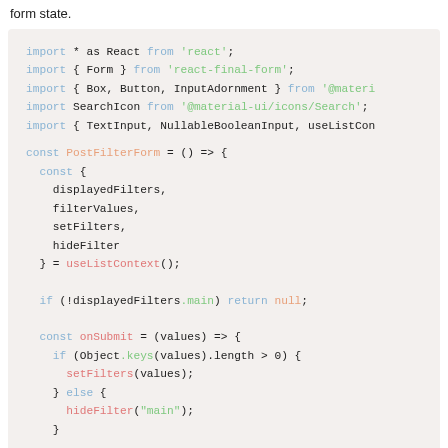form state.
[Figure (screenshot): Code block showing a React component PostFilterForm with imports and JavaScript logic using react-final-form and material-ui libraries]